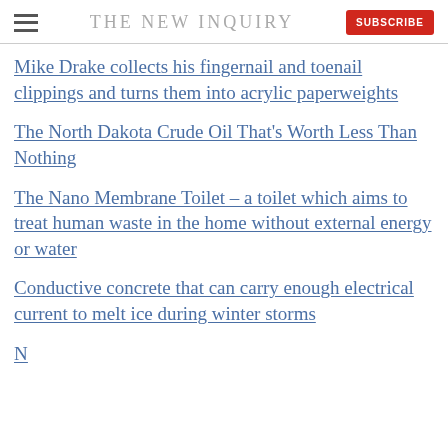THE NEW INQUIRY
Mike Drake collects his fingernail and toenail clippings and turns them into acrylic paperweights
The North Dakota Crude Oil That's Worth Less Than Nothing
The Nano Membrane Toilet – a toilet which aims to treat human waste in the home without external energy or water
Conductive concrete that can carry enough electrical current to melt ice during winter storms
(partial, cut off at bottom)